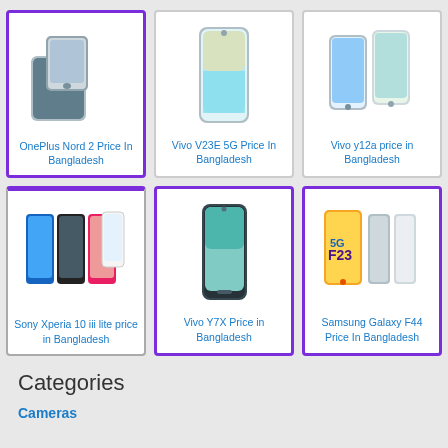[Figure (screenshot): Grid of 6 smartphone product cards, each with a phone image and caption link]
OnePlus Nord 2 Price In Bangladesh
Vivo V23E 5G Price In Bangladesh
Vivo y12a price in Bangladesh
Sony Xperia 10 iii lite price in Bangladesh
Vivo Y7X Price in Bangladesh
Samsung Galaxy F44 Price In Bangladesh
Categories
Cameras